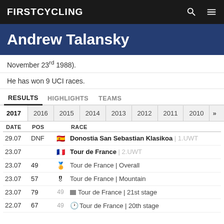FIRSTCYCLING
Andrew Talansky
November 23rd 1988).
He has won 9 UCI races.
RESULTS  HIGHLIGHTS  TEAMS
2017  2016  2015  2014  2013  2012  2011  2010 >>
| DATE | POS |  | RACE |
| --- | --- | --- | --- |
| 29.07 | DNF |  | 🇪🇸 Donostia San Sebastian Klasikoa | 1.UWT |
| 23.07 |  |  | 🇫🇷 Tour de France | 2.UWT |
| 23.07 | 49 |  | 🏅 Tour de France | Overall |
| 23.07 | 57 |  | 🎯 Tour de France | Mountain |
| 23.07 | 79 | 49 | ▬ Tour de France | 21st stage |
| 22.07 | 67 | 49 | ⏱ Tour de France | 20th stage |